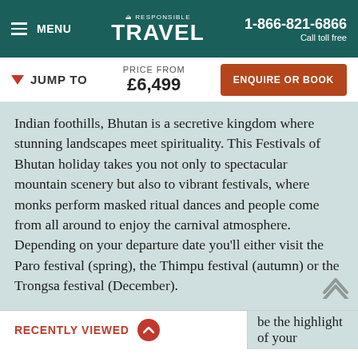MENU | RESPONSIBLE TRAVEL | 1-866-821-6866 Call toll free
JUMP TO   PRICE FROM £6,499   ENQUIRE OR BOOK
Indian foothills, Bhutan is a secretive kingdom where stunning landscapes meet spirituality. This Festivals of Bhutan holiday takes you not only to spectacular mountain scenery but also to vibrant festivals, where monks perform masked ritual dances and people come from all around to enjoy the carnival atmosphere. Depending on your departure date you'll either visit the Paro festival (spring), the Thimpu festival (autumn) or the Trongsa festival (December).
RECENTLY VIEWED
be the highlight of your